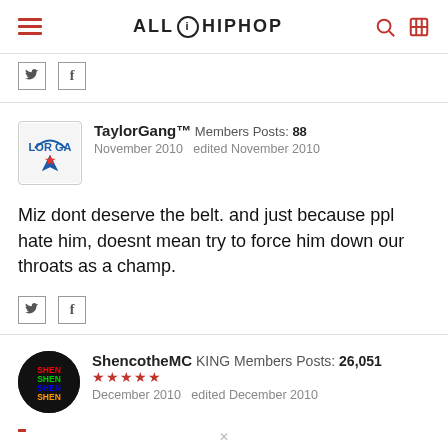ALL HIP HOP
TaylorGang™  Members  Posts: 88
November 2010  edited November 2010
Miz dont deserve the belt. and just because ppl hate him, doesnt mean try to force him down our throats as a champ.
ShencotheMC  KING  Members  Posts: 26,051  ★★★★★
December 2010  edited December 2010